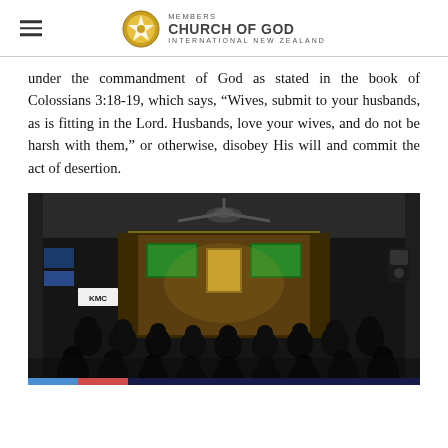MEMBERS CHURCH OF GOD INTERNATIONAL NEW ZEALAND
under the commandment of God as stated in the book of Colossians 3:18-19, which says, “Wives, submit to your husbands, as is fitting in the Lord. Husbands, love your wives, and do not be harsh with them,” or otherwise, disobey His will and commit the act of desertion.
[Figure (photo): Interior of a church hall with audience seated facing a lit stage area with screens and decorations. Room is dimly lit with people in silhouette.]